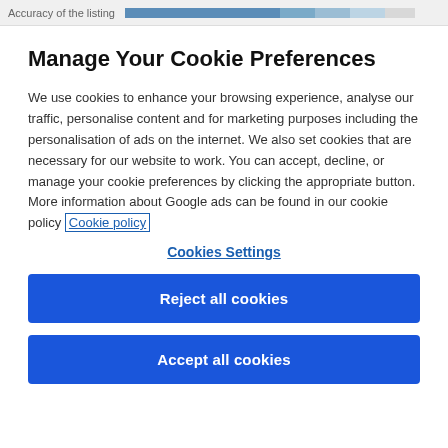Accuracy of the listing
Manage Your Cookie Preferences
We use cookies to enhance your browsing experience, analyse our traffic, personalise content and for marketing purposes including the personalisation of ads on the internet. We also set cookies that are necessary for our website to work. You can accept, decline, or manage your cookie preferences by clicking the appropriate button. More information about Google ads can be found in our cookie policy Cookie policy
Cookies Settings
Reject all cookies
Accept all cookies